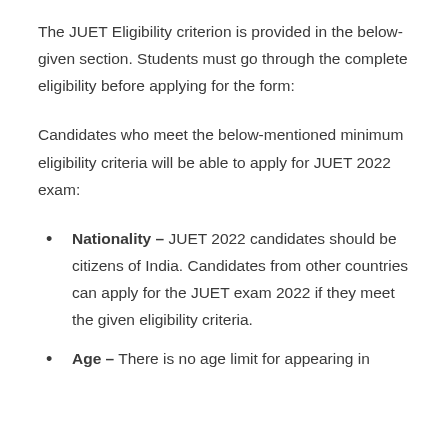The JUET Eligibility criterion is provided in the below-given section. Students must go through the complete eligibility before applying for the form:
Candidates who meet the below-mentioned minimum eligibility criteria will be able to apply for JUET 2022 exam:
Nationality – JUET 2022 candidates should be citizens of India. Candidates from other countries can apply for the JUET exam 2022 if they meet the given eligibility criteria.
Age – There is no age limit for appearing in